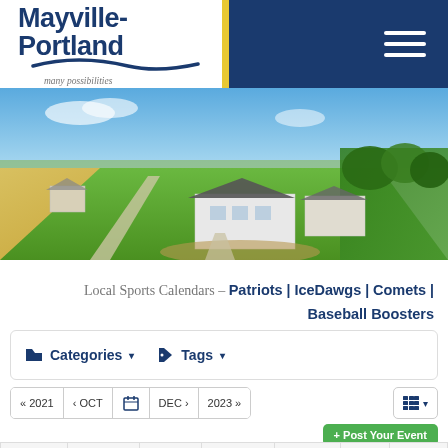Mayville-Portland many possibilities
[Figure (photo): Aerial view of rural landscape with houses, fields, road, and trees under blue sky]
Local Sports Calendars – Patriots | IceDawgs | Comets | Baseball Boosters
Categories ▾   Tags ▾
« 2021   ‹ OCT   [calendar icon]   DEC ›   2023 »
+ Post Your Event
| Sun | Mon | Tue | Wed | Thu | Fri | Sat |
| --- | --- | --- | --- | --- | --- | --- |
|  |  | 1 | 2 | 3 | 4 | 5 |